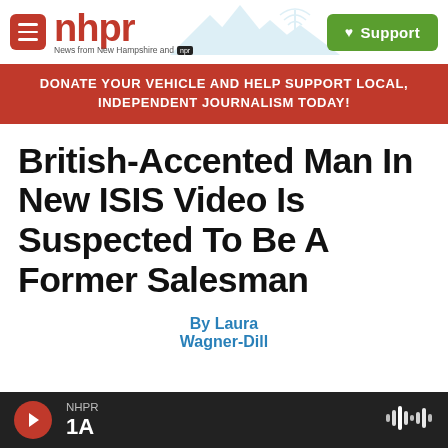nhpr — News from New Hampshire and NPR — Support
DONATE YOUR VEHICLE AND HELP SUPPORT LOCAL, INDEPENDENT JOURNALISM TODAY!
British-Accented Man In New ISIS Video Is Suspected To Be A Former Salesman
By Laura Wagner-Dill
NHPR 1A